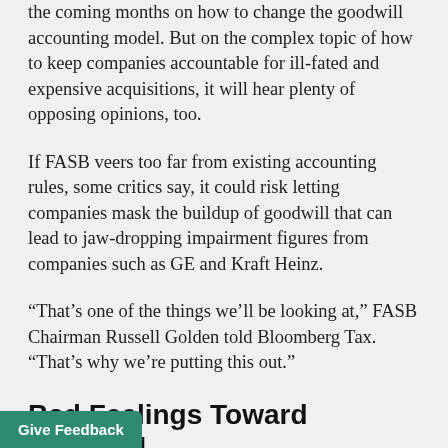the coming months on how to change the goodwill accounting model. But on the complex topic of how to keep companies accountable for ill-fated and expensive acquisitions, it will hear plenty of opposing opinions, too.
If FASB veers too far from existing accounting rules, some critics say, it could risk letting companies mask the buildup of goodwill that can lead to jaw-dropping impairment figures from companies such as GE and Kraft Heinz.
“That’s one of the things we’ll be looking at,” FASB Chairman Russell Golden told Bloomberg Tax. “That’s why we’re putting this out.”
Bad Feelings Toward Goodwill
For decades, accounting rules allowed companies to steadily write down, their goodwill in small